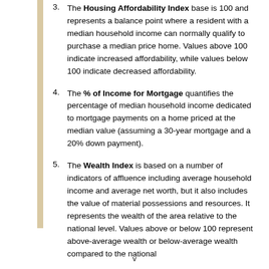3. The Housing Affordability Index base is 100 and represents a balance point where a resident with a median household income can normally qualify to purchase a median price home. Values above 100 indicate increased affordability, while values below 100 indicate decreased affordability.
4. The % of Income for Mortgage quantifies the percentage of median household income dedicated to mortgage payments on a home priced at the median value (assuming a 30-year mortgage and a 20% down payment).
5. The Wealth Index is based on a number of indicators of affluence including average household income and average net worth, but it also includes the value of material possessions and resources. It represents the wealth of the area relative to the national level. Values above or below 100 represent above-average wealth or below-average wealth compared to the national
v